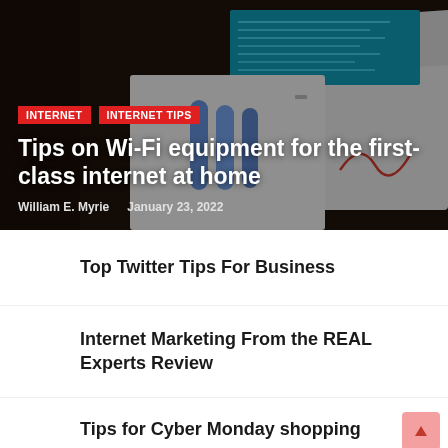[Figure (photo): Hero image of a white electronic kiosk/machine with a teal screen displaying blue text lines, set against a dark background. The machine has hoses/tubes attached.]
INTERNET   INTERNET TIPS
Tips on Wi-Fi equipment for the first-class internet at home
William E. Myrie   January 23, 2022
Top Twitter Tips For Business
Internet Marketing From the REAL Experts Review
Tips for Cyber Monday shopping